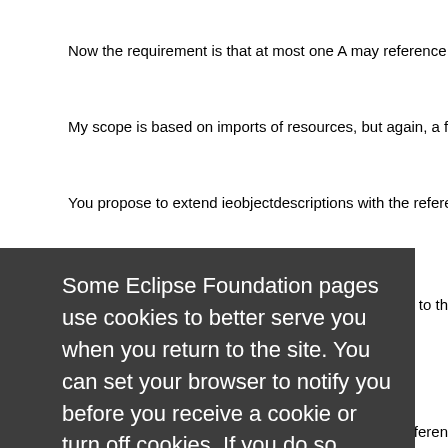Now the requirement is that at most one A may reference any B. S…
My scope is based on imports of resources, but again, a file with A…
You propose to extend ieobjectdescriptions with the references a…
…tion to th…
…e #17608…
…e referen…
[Figure (screenshot): Cookie consent overlay with dark background. Text reads: 'Some Eclipse Foundation pages use cookies to better serve you when you return to the site. You can set your browser to notify you before you receive a cookie or turn off cookies. If you do so, however, some areas of some sites may not function properly. To read Eclipse Foundation Privacy Policy click here.' Two buttons: 'Decline' (white) and 'Allow cookies' (orange).]